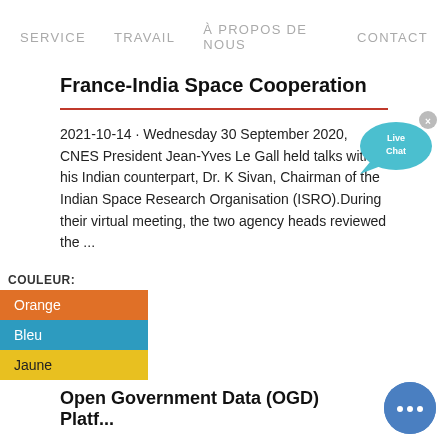SERVICE  TRAVAIL  À PROPOS DE NOUS  CONTACT
France-India Space Cooperation
2021-10-14 · Wednesday 30 September 2020, CNES President Jean-Yves Le Gall held talks with his Indian counterpart, Dr. K Sivan, Chairman of the Indian Space Research Organisation (ISRO).During their virtual meeting, the two agency heads reviewed the ...
[Figure (illustration): Live Chat speech bubble icon in teal/cyan color with 'Live Chat' text and a close (x) button]
COULEUR:
Orange
Bleu
Jaune
Open Government Data (OGD) Platf...
[Figure (illustration): Blue circular chat button with three dots (ellipsis) icon]